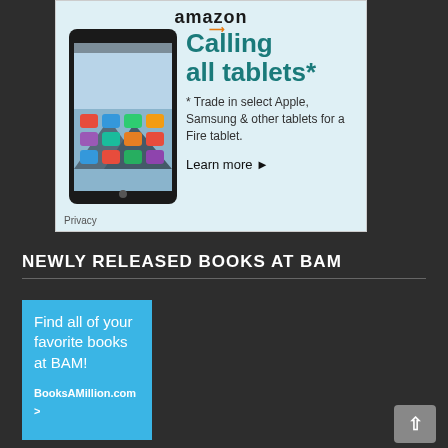[Figure (screenshot): Amazon advertisement showing a Fire tablet with text 'Calling all tablets*' and 'Trade in select Apple, Samsung & other tablets for a Fire tablet. Learn more.' with Amazon logo at top and Privacy label at bottom left.]
NEWLY RELEASED BOOKS AT BAM
[Figure (screenshot): BooksAMillion blue advertisement box with text 'Find all of your favorite books at BAM!' and 'BooksAMillion.com >']